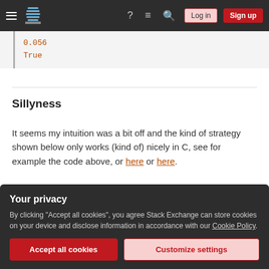Stack Exchange navigation bar with hamburger menu, logo, help, chat, search icons, Log in and Sign up buttons
0.056
True
Sillyness
It seems my intuition was a bit off and the kind of strategy shown below only works (kind of) nicely in C, see for example the code above, or here or here.
Your privacy
By clicking "Accept all cookies", you agree Stack Exchange can store cookies on your device and disclose information in accordance with our Cookie Policy.
general. Evaluate all the code again if you want to